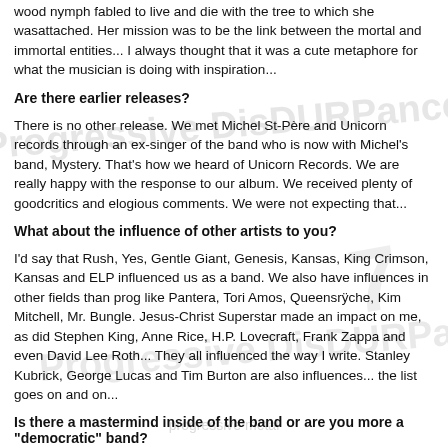wood nymph fabled to live and die with the tree to which she wasattached. Her mission was to be the link between the mortal and immortal entities... I always thought that it was a cute metaphore for what the musician is doing with inspiration...
Are there earlier releases?
There is no other release. We met Michel St-Père and Unicorn records through an ex-singer of the band who is now with Michel's band, Mystery. That's how we heard of Unicorn Records. We are really happy with the response to our album. We received plenty of goodcritics and elogious comments. We were not expecting that...
What about the influence of other artists to you?
I'd say that Rush, Yes, Gentle Giant, Genesis, Kansas, King Crimson, Kansas and ELP influenced us as a band. We also have influences in other fields than prog like Pantera, Tori Amos, Queensrÿche, Kim Mitchell, Mr. Bungle. Jesus-Christ Superstar made an impact on me, as did Stephen King, Anne Rice, H.P. Lovecraft, Frank Zappa and even David Lee Roth... They all influenced the way I write. Stanley Kubrick, George Lucas and Tim Burton are also influences... the list goes on and on...
Is there a mastermind inside of the band or are you more a "democratic" band?
We're more like a democratic band with five masterminds.
How does the songwriting work in the band?